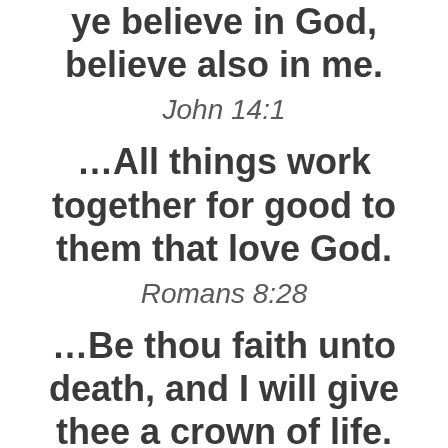ye believe in God, believe also in me.
John 14:1
…All things work together for good to them that love God.
Romans 8:28
…Be thou faith unto death, and I will give thee a crown of life.
Revelation 2:10